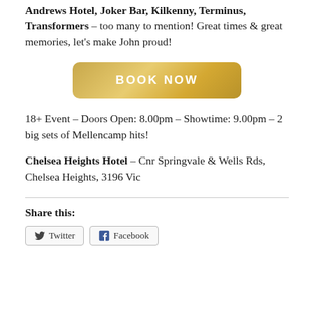Andrews Hotel, Joker Bar, Kilkenny, Terminus, Transformers – too many to mention! Great times & great memories, let's make John proud!
[Figure (other): Gold gradient 'BOOK NOW' button]
18+ Event – Doors Open: 8.00pm – Showtime: 9.00pm – 2 big sets of Mellencamp hits!
Chelsea Heights Hotel – Cnr Springvale & Wells Rds, Chelsea Heights, 3196 Vic
Share this:
Twitter  Facebook